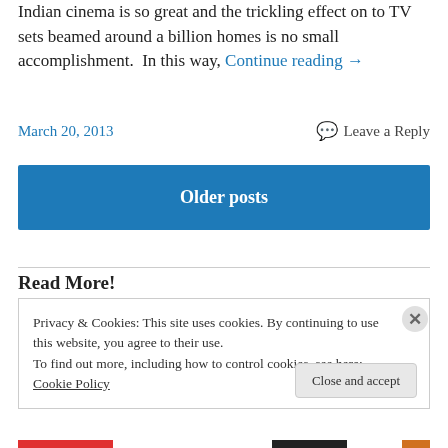Indian cinema is so great and the trickling effect on to TV sets beamed around a billion homes is no small accomplishment.  In this way, Continue reading →
March 20, 2013
Leave a Reply
Older posts
Read More!
Privacy & Cookies: This site uses cookies. By continuing to use this website, you agree to their use.
To find out more, including how to control cookies, see here: Cookie Policy
Close and accept